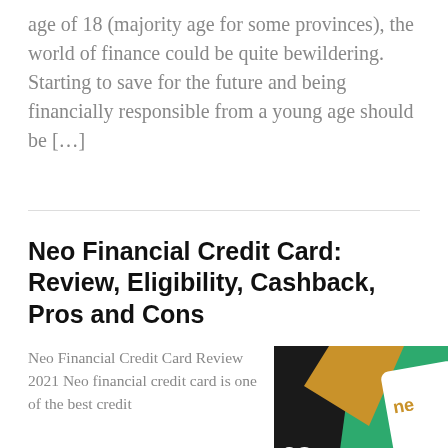age of 18 (majority age for some provinces), the world of finance could be quite bewildering. Starting to save for the future and being financially responsible from a young age should be […]
Neo Financial Credit Card: Review, Eligibility, Cashback, Pros and Cons
Neo Financial Credit Card Review 2021 Neo financial credit card is one of the best credit
[Figure (photo): Neo Financial credit card and branding image showing a black background with gold and green geometric shapes and a white card with 'neo' text visible]